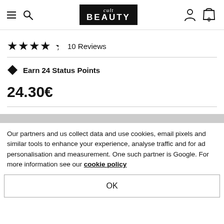[Figure (logo): Cult Beauty logo with hamburger menu, search icon, user icon, and cart bag with 0 items]
★★★★✦ 10 Reviews
✦ Earn 24 Status Points
24.30€
Our partners and us collect data and use cookies, email pixels and similar tools to enhance your experience, analyse traffic and for ad personalisation and measurement. One such partner is Google. For more information see our cookie policy
OK